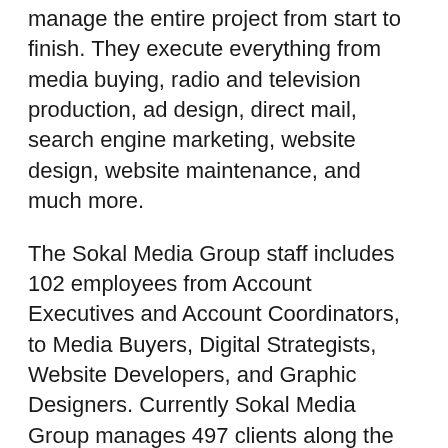manage the entire project from start to finish. They execute everything from media buying, radio and television production, ad design, direct mail, search engine marketing, website design, website maintenance, and much more.
The Sokal Media Group staff includes 102 employees from Account Executives and Account Coordinators, to Media Buyers, Digital Strategists, Website Developers, and Graphic Designers. Currently Sokal Media Group manages 497 clients along the East Coast.
For more information on Sokal Media Group visit: http://www.sokalmediagroup.com/.